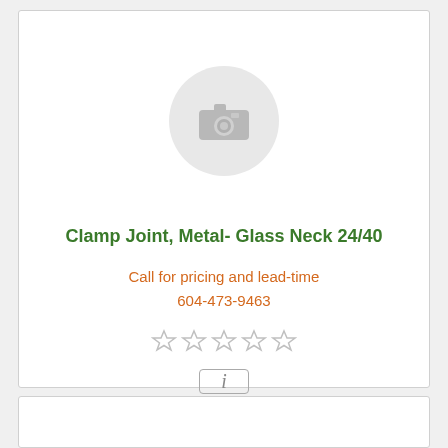[Figure (photo): Placeholder camera icon in a grey circle, indicating no product image available]
Clamp Joint, Metal- Glass Neck 24/40
Call for pricing and lead-time
604-473-9463
[Figure (other): Five grey star rating icons (empty/unrated)]
[Figure (other): Info button: square bordered box with italic lowercase i]